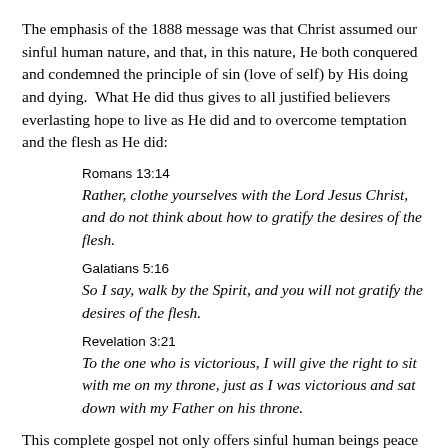The emphasis of the 1888 message was that Christ assumed our sinful human nature, and that, in this nature, He both conquered and condemned the principle of sin (love of self) by His doing and dying.  What He did thus gives to all justified believers everlasting hope to live as He did and to overcome temptation and the flesh as He did:
Romans 13:14
Rather, clothe yourselves with the Lord Jesus Christ, and do not think about how to gratify the desires of the flesh.
Galatians 5:16
So I say, walk by the Spirit, and you will not gratify the desires of the flesh.
Revelation 3:21
To the one who is victorious, I will give the right to sit with me on my throne, just as I was victorious and sat down with my Father on his throne.
This complete gospel not only offers sinful human beings peace with God and full assurance of heaven now and in the judgment, but it also offers us total victory over the tyranny and power of the sinful flesh.  A word of caution, however!  Such victorious living